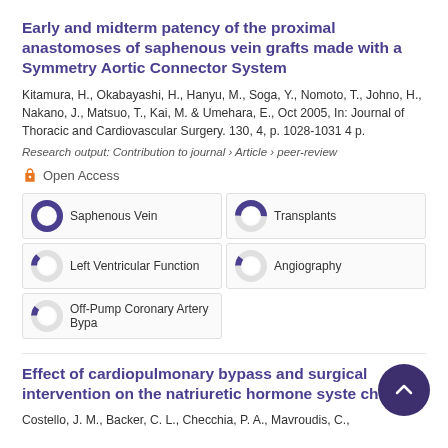Early and midterm patency of the proximal anastomoses of saphenous vein grafts made with a Symmetry Aortic Connector System
Kitamura, H., Okabayashi, H., Hanyu, M., Soga, Y., Nomoto, T., Johno, H., Nakano, J., Matsuo, T., Kai, M. & Umehara, E., Oct 2005, In: Journal of Thoracic and Cardiovascular Surgery. 130, 4, p. 1028-1031 4 p.
Research output: Contribution to journal › Article › peer-review
Open Access
Saphenous Vein
Transplants
Left Ventricular Function
Angiography
Off-Pump Coronary Artery Bypa
Effect of cardiopulmonary bypass and surgical intervention on the natriuretic hormone syste children
Costello, J. M., Backer, C. L., Checchia, P. A., Mavroudis, C.,